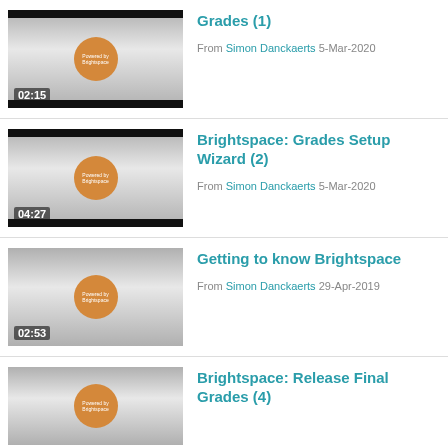[Figure (screenshot): Video thumbnail with orange circle logo and timer 02:15]
Grades (1)
From Simon Danckaerts 5-Mar-2020
[Figure (screenshot): Video thumbnail with orange circle logo and timer 04:27]
Brightspace: Grades Setup Wizard (2)
From Simon Danckaerts 5-Mar-2020
[Figure (screenshot): Video thumbnail with orange circle logo and timer 02:53]
Getting to know Brightspace
From Simon Danckaerts 29-Apr-2019
[Figure (screenshot): Video thumbnail with orange circle logo, partial view]
Brightspace: Release Final Grades (4)